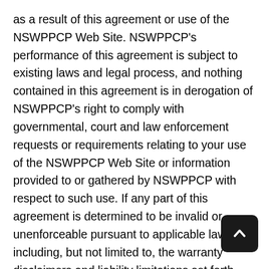as a result of this agreement or use of the NSWPPCP Web Site. NSWPPCP's performance of this agreement is subject to existing laws and legal process, and nothing contained in this agreement is in derogation of NSWPPCP's right to comply with governmental, court and law enforcement requests or requirements relating to your use of the NSWPPCP Web Site or information provided to or gathered by NSWPPCP with respect to such use. If any part of this agreement is determined to be invalid or unenforceable pursuant to applicable law including, but not limited to, the warranty disclaimers and liability limitations set forth above, then the invalid or unenforceable provision will be deemed superseded by a valid, enforceable provision that most closely matches the intent of the original provision and the remainder of the agreement will continue in effect. Unless otherwise specified herein, this agreement constitutes the entire agreement between the